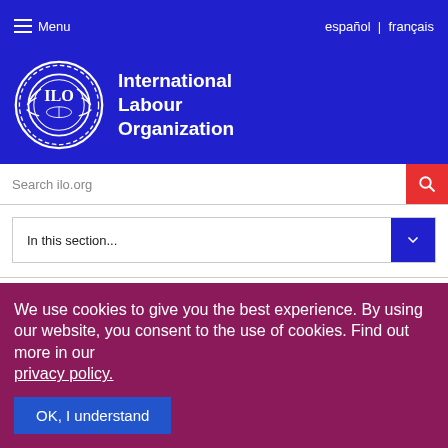Menu | español | français
[Figure (logo): International Labour Organization (ILO) logo with gear/wreath emblem and text 'International Labour Organization']
Search ilo.org
In this section...
Feature story
Monitoring hazardous child
We use cookies to give you the best experience. By using our website, you consent to the use of cookies. Find out more in our privacy policy.
OK, I understand